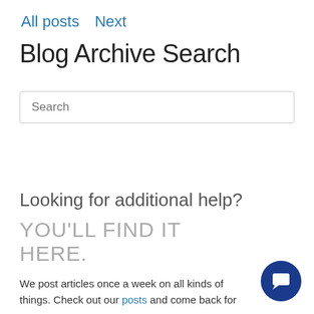All posts   Next
Blog Archive Search
Search
Looking for additional help?
YOU'LL FIND IT HERE.
We post articles once a week on all kinds of things. Check out our posts and come back for new ones.